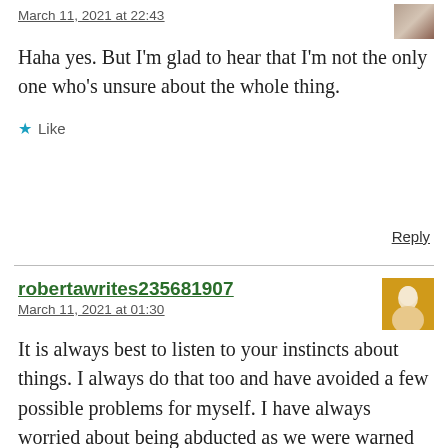March 11, 2021 at 22:43
Haha yes. But I'm glad to hear that I'm not the only one who's unsure about the whole thing.
★ Like
Reply
robertawrites235681907
March 11, 2021 at 01:30
It is always best to listen to your instincts about things. I always do that too and have avoided a few possible problems for myself. I have always worried about being abducted as we were warned about this all the time as girls, especially as we were all